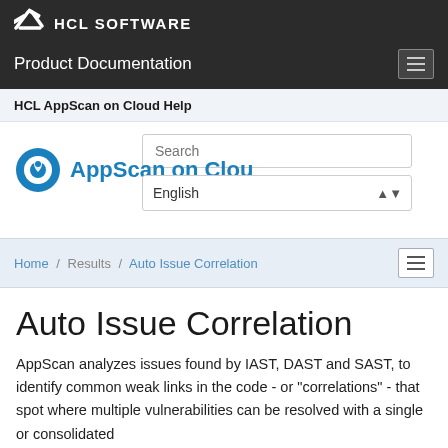[Figure (logo): HCL Software logo with stylized arrow icon on dark background header bar]
Product Documentation
HCL AppScan on Cloud Help
[Figure (logo): AppScan on Cloud logo with blue circular icon and text]
Home / Results / Auto Issue Correlation
Auto Issue Correlation
AppScan analyzes issues found by IAST, DAST and SAST, to identify common weak links in the code - or "correlations" - that spot where multiple vulnerabilities can be resolved with a single or consolidated